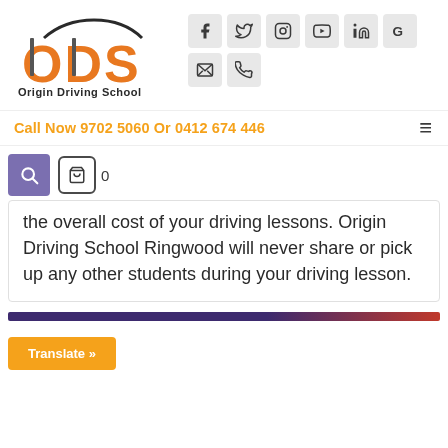[Figure (logo): Origin Driving School logo with ODS letters in orange/black and a car silhouette above]
[Figure (infographic): Social media icons: Facebook, Twitter, Instagram, YouTube, LinkedIn, Google, Email, Phone in grey boxes]
Call Now 9702 5060 Or 0412 674 446
the overall cost of your driving lessons. Origin Driving School Ringwood will never share or pick up any other students during your driving lesson.
Translate »